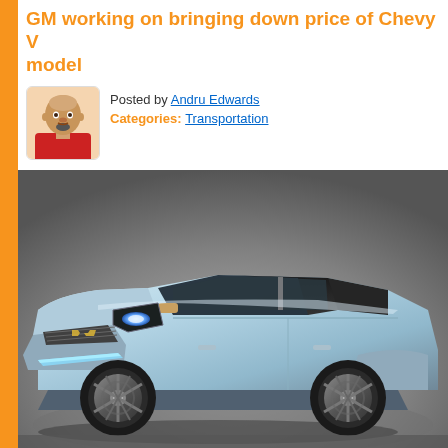GM working on bringing down price of Chevy V... model
Posted by Andru Edwards
Categories: Transportation
[Figure (photo): Silver Chevrolet Volt electric car photographed from front-three-quarter angle against a grey studio background]